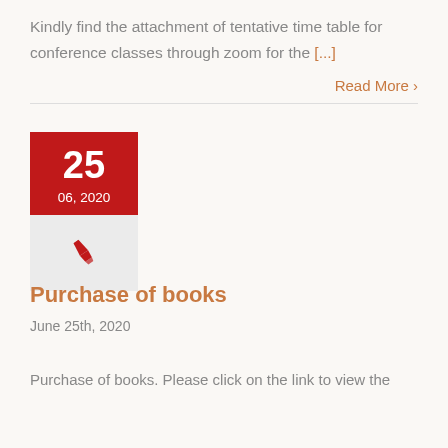Kindly find the attachment of tentative time table for conference classes through zoom for the [...]
Read More >
[Figure (other): Date card showing 25, 06, 2020 with red background on top and pen icon on grey background below]
Purchase of books
June 25th, 2020
Purchase of books. Please click on the link to view the